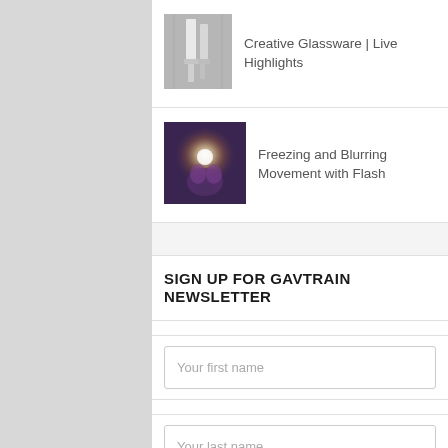[Figure (photo): Thumbnail image of glassware in black and white]
Creative Glassware | Live Highlights
[Figure (photo): Thumbnail image of person with dramatic flash lighting, purple tones]
Freezing and Blurring Movement with Flash
SIGN UP FOR GAVTRAIN NEWSLETTER
Your first name
Your last name
Your email address (required)
Subscribe